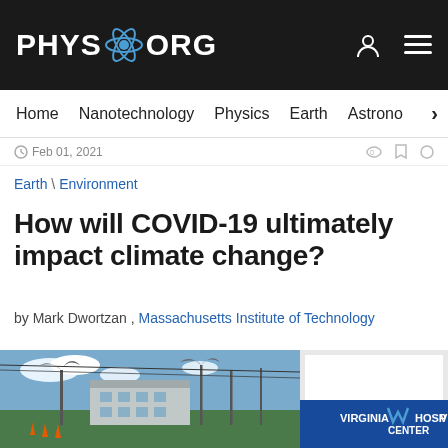PHYS.ORG
Home | Nanotechnology | Physics | Earth | Astronomy >
Feb 01, 2021
Earth \ Environment
How will COVID-19 ultimately impact climate change?
by Mark Dwortzan , Massachusetts Institute of Technology
[Figure (photo): Outdoor photo showing Virginia Hospital Center sign with a building, bare trees, blue sky with clouds, and orange traffic cones in the foreground.]